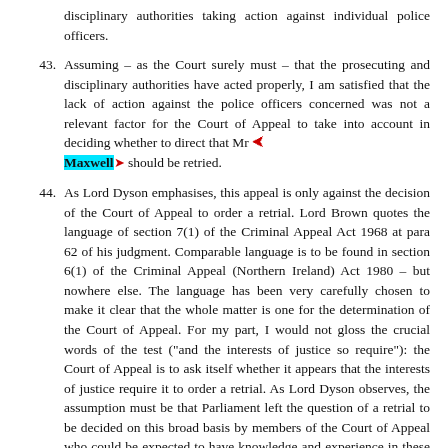disciplinary authorities taking action against individual police officers.
43. Assuming – as the Court surely must – that the prosecuting and disciplinary authorities have acted properly, I am satisfied that the lack of action against the police officers concerned was not a relevant factor for the Court of Appeal to take into account in deciding whether to direct that Mr Maxwell should be retried.
44. As Lord Dyson emphasises, this appeal is only against the decision of the Court of Appeal to order a retrial. Lord Brown quotes the language of section 7(1) of the Criminal Appeal Act 1968 at para 62 of his judgment. Comparable language is to be found in section 6(1) of the Criminal Appeal (Northern Ireland) Act 1980 – but nowhere else. The language has been very carefully chosen to make it clear that the whole matter is one for the determination of the Court of Appeal. For my part, I would not gloss the crucial words of the test ("and the interests of justice so require"): the Court of Appeal is to ask itself whether it appears that the interests of justice require it to order a retrial. As Lord Dyson observes, the assumption must be that Parliament left the question of a retrial to be decided on this broad basis by members of the Court of Appeal who could be expected to have knowledge and experience in these matters – and who